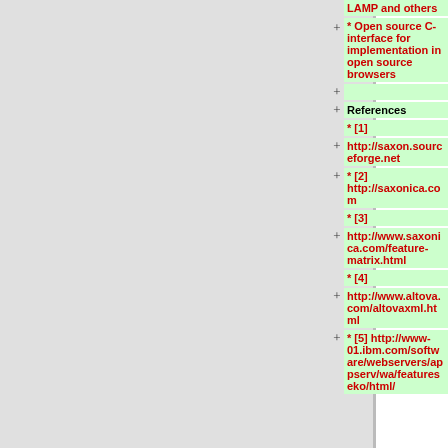* E/o processor for LAMP and others
+ * Open source C-interface for implementation in open source browsers
+
+ References
* [1]
+ http://saxon.sourceforge.net
* [2] http://saxonica.com
* [3]
+ http://www.saxonica.com/feature-matrix.html
* [4]
+ http://www.altova.com/altovaxml.html
* [5]  http://www-01.ibm.com/software/webservers/appserv/wa/featureseko/html/